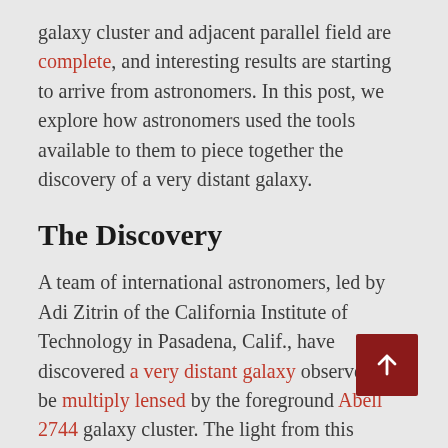galaxy cluster and adjacent parallel field are complete, and interesting results are starting to arrive from astronomers. In this post, we explore how astronomers used the tools available to them to piece together the discovery of a very distant galaxy.
The Discovery
A team of international astronomers, led by Adi Zitrin of the California Institute of Technology in Pasadena, Calif., have discovered a very distant galaxy observed to be multiply lensed by the foreground Abell 2744 galaxy cluster. The light from this distant galaxy was distorted into three images and magnified via gravitational lensing of